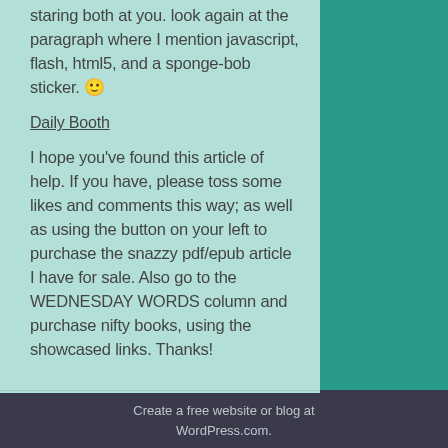staring both at you. look again at the paragraph where I mention javascript, flash, html5, and a sponge-bob sticker. 🙂
Daily Booth
I hope you've found this article of help. If you have, please toss some likes and comments this way; as well as using the button on your left to purchase the snazzy pdf/epub article I have for sale. Also go to the WEDNESDAY WORDS column and purchase nifty books, using the showcased links. Thanks!
0 COMMENTS
LEAVE A COMMENT
Create a free website or blog at WordPress.com.